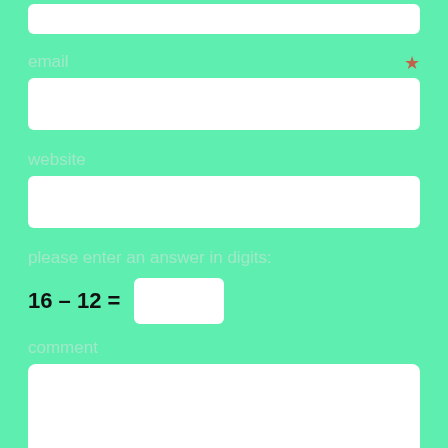[Figure (screenshot): Partial view of a web form with a green background showing fields for email (with required star), website, a CAPTCHA math question (16 - 12 =), and comment textarea.]
email ★
website
please enter an answer in digits:
comment